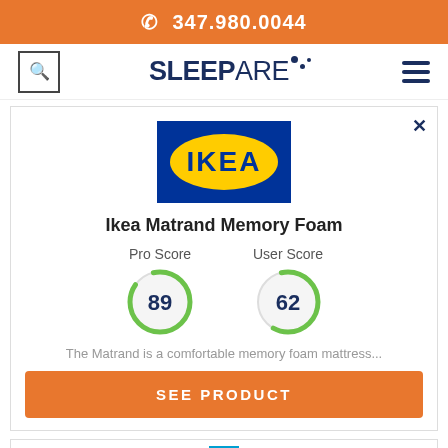📞 347.980.0044
[Figure (logo): Sleepare logo with navigation search icon and hamburger menu]
[Figure (logo): IKEA logo - blue rectangle with yellow oval containing IKEA text]
Ikea Matrand Memory Foam
Pro Score 89 | User Score 62
The Matrand is a comfortable memory foam mattress...
SEE PRODUCT